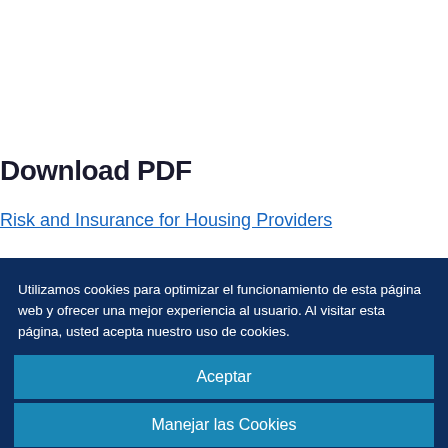Download PDF
Risk and Insurance for Housing Providers
Utilizamos cookies para optimizar el funcionamiento de esta página web y ofrecer una mejor experiencia al usuario. Al visitar esta página, usted acepta nuestro uso de cookies.
Aceptar
Manejar las Cookies